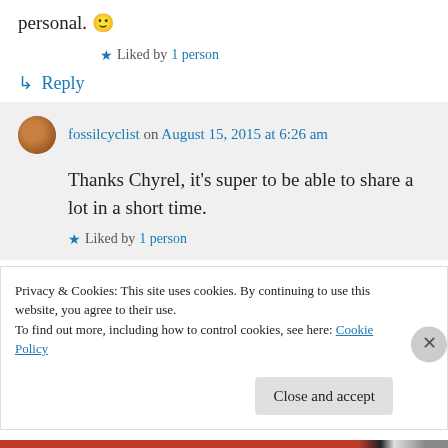personal. 🙂
★ Liked by 1 person
↳ Reply
fossilcyclist on August 15, 2015 at 6:26 am
Thanks Chyrel, it's super to be able to share a lot in a short time.
★ Liked by 1 person
Privacy & Cookies: This site uses cookies. By continuing to use this website, you agree to their use.
To find out more, including how to control cookies, see here: Cookie Policy
Close and accept